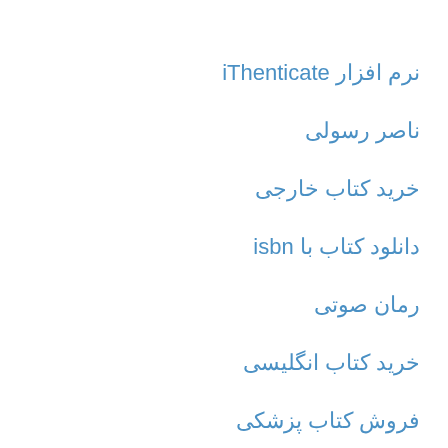نرم افزار iThenticate
ناصر رسولی
خرید کتاب خارجی
دانلود کتاب با isbn
رمان صوتی
خرید کتاب انگلیسی
فروش کتاب پزشکی